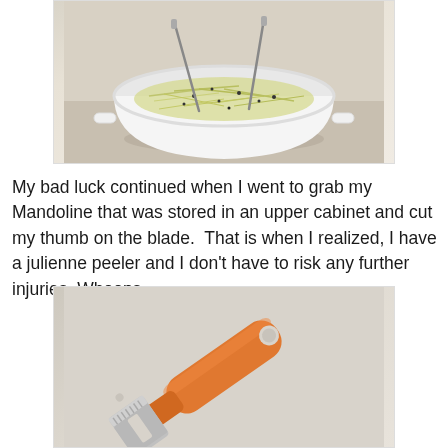[Figure (photo): A white bowl containing shredded cabbage or similar vegetable slaw with dark seasoning, two metal utensils sticking out, placed on a light wooden/paper surface.]
My bad luck continued when I went to grab my Mandoline that was stored in an upper cabinet and cut my thumb on the blade.  That is when I realized, I have a julienne peeler and I don't have to risk any further injuries. Whoops.
[Figure (photo): An orange julienne peeler with a serrated metal blade, lying diagonally on a light beige surface.]